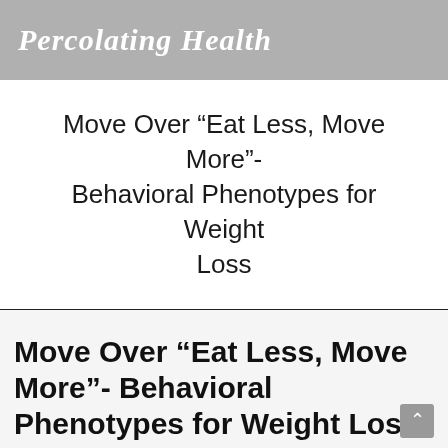Percolating Health
Move Over “Eat Less, Move More”- Behavioral Phenotypes for Weight Loss
Move Over “Eat Less, Move More”- Behavioral Phenotypes for Weight Loss